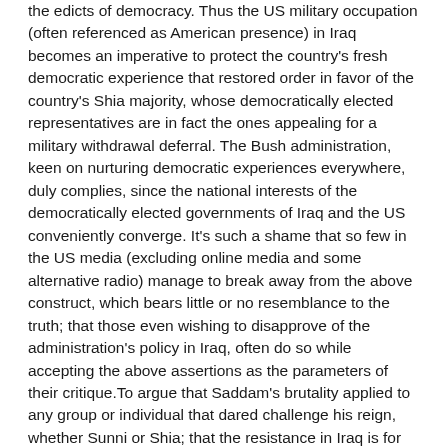the edicts of democracy. Thus the US military occupation (often referenced as American presence) in Iraq becomes an imperative to protect the country's fresh democratic experience that restored order in favor of the country's Shia majority, whose democratically elected representatives are in fact the ones appealing for a military withdrawal deferral. The Bush administration, keen on nurturing democratic experiences everywhere, duly complies, since the national interests of the democratically elected governments of Iraq and the US conveniently converge. It's such a shame that so few in the US media (excluding online media and some alternative radio) manage to break away from the above construct, which bears little or no resemblance to the truth; that those even wishing to disapprove of the administration's policy in Iraq, often do so while accepting the above assertions as the parameters of their critique.To argue that Saddam's brutality applied to any group or individual that dared challenge his reign, whether Sunni or Shia; that the resistance in Iraq is for the most part a determined response to an illegitimate war and occupation; to challenge the authenticity of the claim specifying one group as majority and another as minority; to question the entire edifice of claims